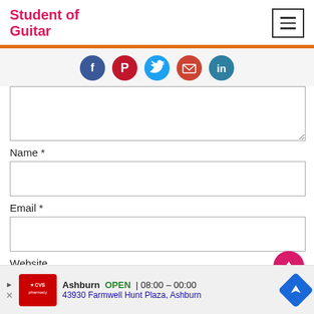Student of Guitar
[Figure (infographic): Hamburger menu icon in bordered box]
[Figure (infographic): Social share buttons row: Facebook, Pinterest, Twitter, Email, LinkedIn]
Name *
Email *
Website
[Figure (infographic): CVS Pharmacy ad banner: Ashburn OPEN 08:00 - 00:00, 43930 Farmwell Hunt Plaza, Ashburn]